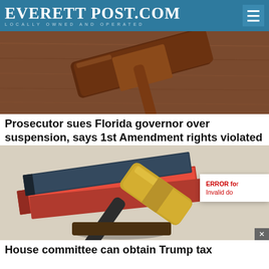EverettPost.com — Locally Owned and Operated
[Figure (photo): Close-up photo of a wooden judge's gavel resting on a wooden surface, warm brown tones]
Prosecutor sues Florida governor over suspension, says 1st Amendment rights violated
[Figure (photo): Photo of a gold/brass judge's gavel lying on stacked law books with red spines, light background]
House committee can obtain Trump tax